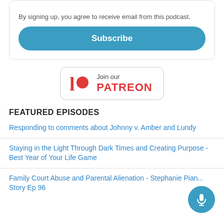By signing up, you agree to receive email from this podcast.
Subscribe
[Figure (logo): Patreon join button with Patreon logo (red circle with P) and text 'Join our PATREON']
FEATURED EPISODES
Responding to comments about Johnny v. Amber and Lundy
Staying in the Light Through Dark Times and Creating Purpose - Best Year of Your Life Game
Family Court Abuse and Parental Alienation - Stephanie Pian... Story Ep 96